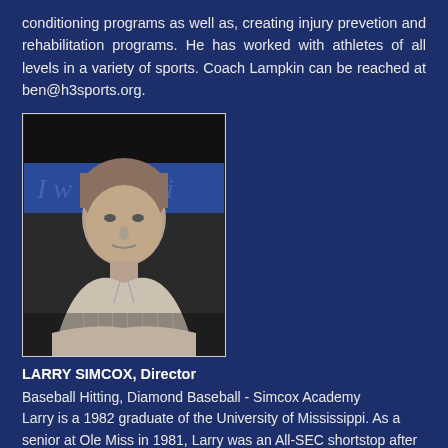conditioning programs as well as, creating injury prevetion and rehabilitation programs. He has worked with athletes of all levels in a variety of sports. Coach Lampkin can be reached at ben@h3sports.org.
[Figure (photo): Black and white headshot photo of a middle-aged man in a polo shirt, with text partially visible in the background reading 'I w... gi...']
LARRY SIMCOX, Director
Baseball Hitting, Diamond Baseball - Simcox Academy
Larry is a 1982 graduate of the University of Mississippi. As a senior at Ole Miss in 1981, Larry was an All-SEC shortstop after batting a team high 374, striking out only once in 174 at bats, a mark that still stands as an NCAA record for that many appearances. Simcox was drafted in the 9th round by the Houston Astros. A knee injury ended his professional playing days.